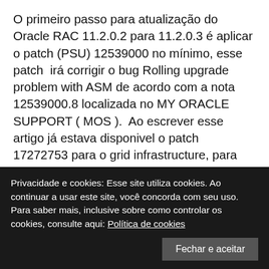O primeiro passo para atualização do Oracle RAC 11.2.0.2 para 11.2.0.3 é aplicar o patch (PSU) 12539000 no mínimo, esse patch  irá corrigir o bug Rolling upgrade problem with ASM de acordo com a nota 12539000.8 localizada no MY ORACLE SUPPORT ( MOS ).  Ao escrever esse artigo já estava disponivel o patch 17272753 para o grid infrastructure, para mais informações leia a seguinte nota publicada no My Oracle Support  Patch 11.2.0.2 Patch Set – Availability and Known Issues (Doc ID 1170474.1)
Privacidade e cookies: Esse site utiliza cookies. Ao continuar a usar este site, você concorda com seu uso.
Para saber mais, inclusive sobre como controlar os cookies, consulte aqui: Política de cookies
patch já estava disponivel na minha maquina